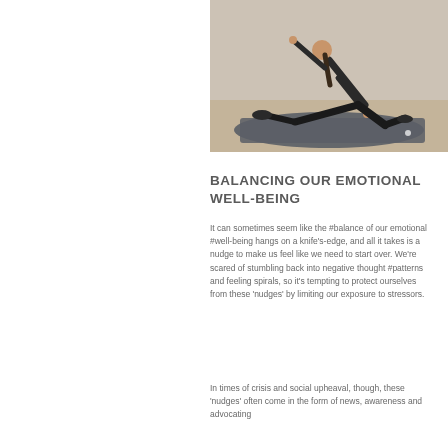[Figure (photo): Person performing a yoga pose (extended side angle or similar) on a dark yoga mat in a studio with wooden floor background. The person is dressed in black athletic wear.]
BALANCING OUR EMOTIONAL WELL-BEING
It can sometimes seem like the #balance of our emotional #well-being hangs on a knife's-edge, and all it takes is a nudge to make us feel like we need to start over. We're scared of stumbling back into negative thought #patterns and feeling spirals, so it's tempting to protect ourselves from these 'nudges' by limiting our exposure to stressors.
In times of crisis and social upheaval, though, these 'nudges' often come in the form of news, awareness and advocating